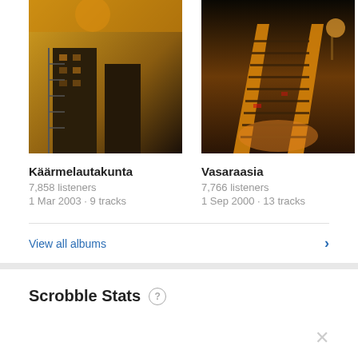[Figure (photo): Album cover for Käärmelautakunta – building with fire escape stairs, yellow sky, dark tones]
[Figure (photo): Album cover for Vasaraasia – escalator with warm orange/yellow lighting]
[Figure (photo): Partial album cover, dark red/maroon background – cropped on right edge]
Käärmelautakunta
7,858 listeners
1 Mar 2003 · 9 tracks
Vasaraasia
7,766 listeners
1 Sep 2000 · 13 tracks
Maa
7,291
1 Mar
View all albums
Scrobble Stats